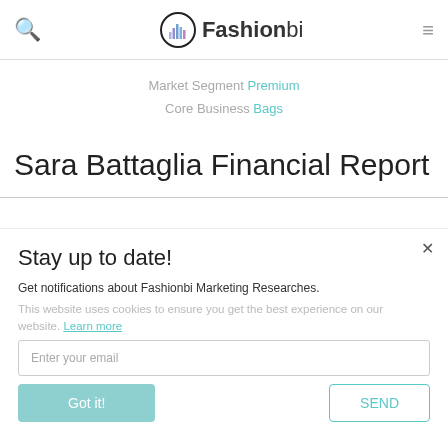Fashionbi
Market Segment Premium
Core Business Bags
Sara Battaglia Financial Report
Stay up to date!
Get notifications about Fashionbi Marketing Researches.
This website uses cookies to ensure you get the best experience on our website. Learn more
Enter your email
Got it!
SEND